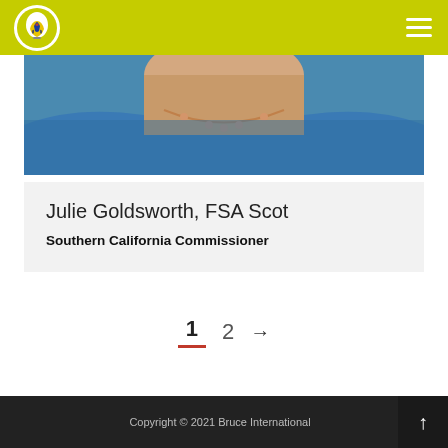Bruce International - navigation header with logo and menu
[Figure (photo): Partial photo of a person wearing a blue top and gold/rose necklace, cropped to show neck and chest area]
Julie Goldsworth, FSA Scot
Southern California Commissioner
1  2  →
Copyright © 2021 Bruce International